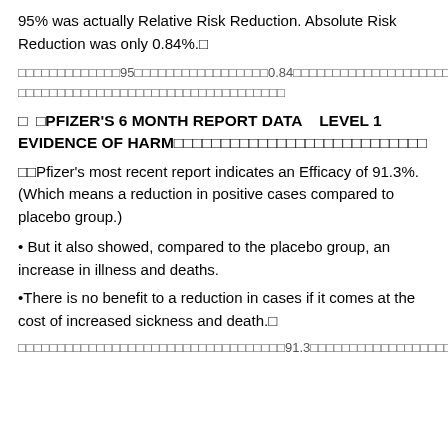95% was actually Relative Risk Reduction. Absolute Risk Reduction was only 0.84%.
[Thai text] 95 [Thai text] 0.84 [Thai text continued]
□ □PFIZER'S 6 MONTH REPORT DATA   LEVEL 1 EVIDENCE OF HARM□□□□□□□□□□□□□□□□□□□□□□□□□□□□
□□Pfizer's most recent report indicates an Efficacy of 91.3%. (Which means a reduction in positive cases compared to placebo group.)
• But it also showed, compared to the placebo group, an increase in illness and deaths.
•There is no benefit to a reduction in cases if it comes at the cost of increased sickness and death.□
[Thai text] 91.3 [Thai text continued]